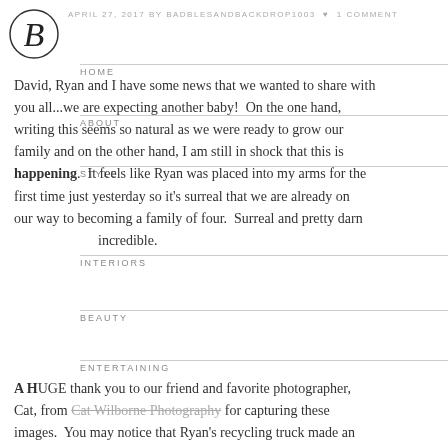APRIL 27, 2017 BY BADBLESANDBACKDROP1003 • 1 COMMENT
[Figure (logo): Circular logo with stylized B letter]
David, Ryan and I have some news that we wanted to share with you all...we are expecting another baby!  On the one hand, writing this seems so natural as we were ready to grow our family and on the other hand, I am still in shock that this is happening.  It feels like Ryan was placed into my arms for the first time just yesterday so it's surreal that we are already on our way to becoming a family of four.  Surreal and pretty darn incredible.
A HUGE thank you to our friend and favorite photographer, Cat, from Cat Wilborne Photography for capturing these images.  You may notice that Ryan's recycling truck made an appearance in every one of the photos, often that appearance
HOME
ABOUT
STYLE
INTERIORS
BEAUTY
ENTERTAINING